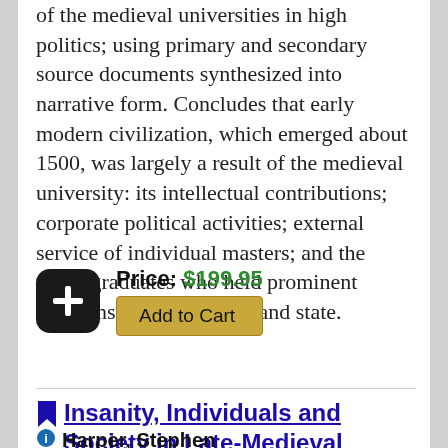of the medieval universities in high politics; using primary and secondary source documents synthesized into narrative form. Concludes that early modern civilization, which emerged about 1500, was largely a result of the medieval university: its intellectual contributions; corporate political activities; external service of individual masters; and the many graduates who held prominent positions in both Church and state.
Price: $199.95 Add to Cart
Insanity, Individuals and Society in Late-Medieval English Literature
Harper, Stephen